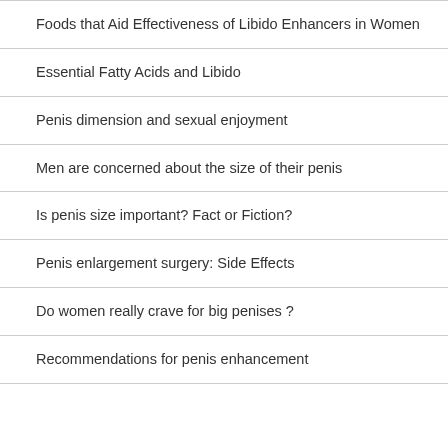Foods that Aid Effectiveness of Libido Enhancers in Women
Essential Fatty Acids and Libido
Penis dimension and sexual enjoyment
Men are concerned about the size of their penis
Is penis size important? Fact or Fiction?
Penis enlargement surgery: Side Effects
Do women really crave for big penises ?
Recommendations for penis enhancement